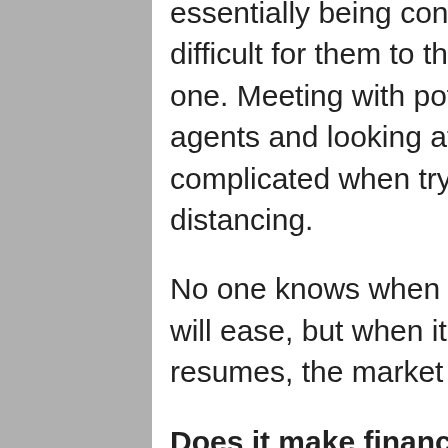essentially being confined to their homes, it's difficult for them to think about purchasing a new one. Meeting with potential sellers and real estate agents and looking at properties is also complicated when trying to maintain social distancing.
No one knows when the spread of the coronavirus will ease, but when it does, and normal life resumes, the market may see an increase in sales.
Does it make financial sense to buy a house now?
A dwindling housing market does not automatically mean this isn't a good time to buy a house. In fact, times of financial uncertainty generally lead to falling mortgage rates and the ease of credit qualifications. Mortgage rates have already reached a record low of 3.13 percent in the beginning of March, prompting some buyers